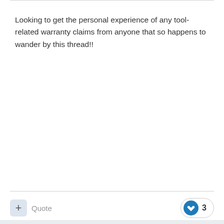Looking to get the personal experience of any tool-related warranty claims from anyone that so happens to wander by this thread!!
+ Quote  ❤ 3
comp56
Posted May 22, 2016
in Canada Milwaukee is shipping one way, unless you drop it off at a service depot..I had one XC m12 battery that was on the fritz I went to the service depot to sent it away and buddy gave me a new one off the shelf... easy peasy